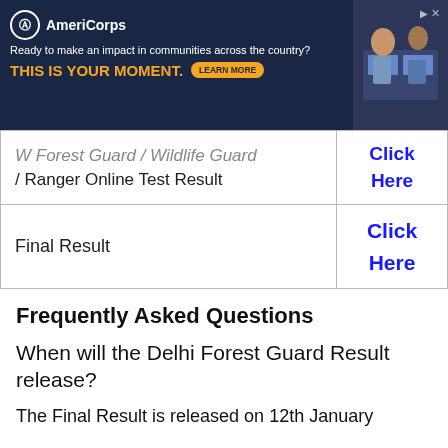[Figure (other): AmeriCorps advertisement banner: dark navy background, AmeriCorps logo, tagline 'Ready to make an impact in communities across the country? THIS IS YOUR MOMENT.', LEARN MORE button, image of students at computers on right side, skip/close button top right.]
| W Forest Guard / Wildlife Guard / Ranger Online Test Result | Click Here |
| Final Result | Click
Here |
Frequently Asked Questions
When will the Delhi Forest Guard Result release?
The Final Result is released on 12th January 2021.